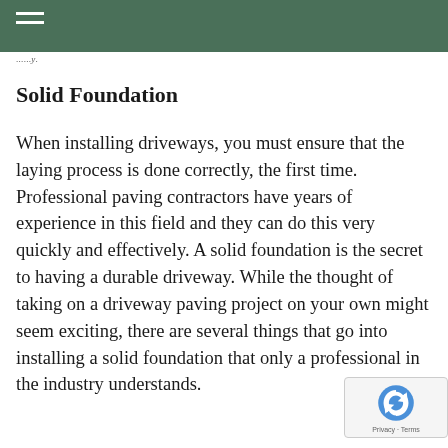...
Solid Foundation
When installing driveways, you must ensure that the laying process is done correctly, the first time. Professional paving contractors have years of experience in this field and they can do this very quickly and effectively. A solid foundation is the secret to having a durable driveway. While the thought of taking on a driveway paving project on your own might seem exciting, there are several things that go into installing a solid foundation that only a professional in the industry understands.